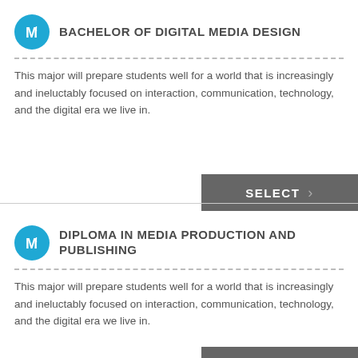BACHELOR OF DIGITAL MEDIA DESIGN
This major will prepare students well for a world that is increasingly and ineluctably focused on interaction, communication, technology, and the digital era we live in.
DIPLOMA IN MEDIA PRODUCTION AND PUBLISHING
This major will prepare students well for a world that is increasingly and ineluctably focused on interaction, communication, technology, and the digital era we live in.